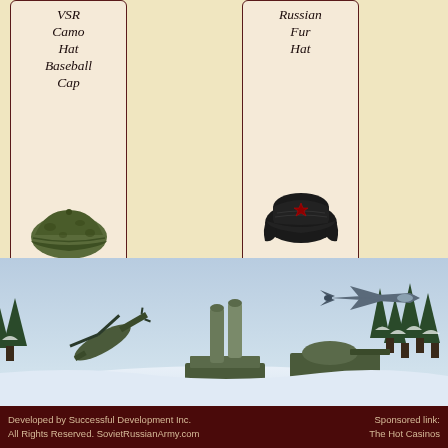[Figure (illustration): Product card: VSR Camo Hat Baseball Cap with image of a green camouflage baseball cap]
11,65$
[Figure (illustration): Product card: Russian Fur Hat with image of a black fur ushanka hat]
17,45$
[Figure (illustration): Pagination navigation with buttons: 1, 2, 3, →]
[Figure (photo): Military scene with helicopters, missile launchers, tanks, jet aircraft, and snow-covered pine trees in a winter landscape]
Developed by Successful Development Inc. All Rights Reserved. SovietRussianArmy.com | Sponsored link: The Hot Casinos